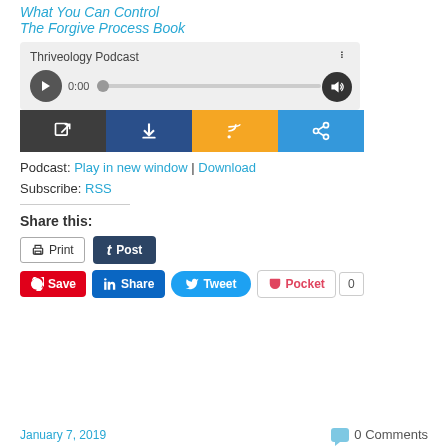What You Can Control
The Forgive Process Book
[Figure (screenshot): Podcast audio player for Thriveology Podcast showing 0:00 / 0:00 with play button, progress bar, volume control, and toolbar with open, download, RSS, and share buttons]
Podcast: Play in new window | Download
Subscribe: RSS
Share this:
Print
Post
Save
Share
Tweet
Pocket 0
January 7, 2019   0 Comments